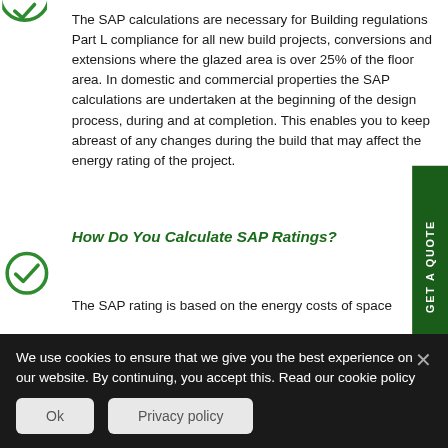[Figure (illustration): Green circle checkmark icon at top left, partially visible]
The SAP calculations are necessary for Building regulations Part L compliance for all new build projects, conversions and extensions where the glazed area is over 25% of the floor area. In domestic and commercial properties the SAP calculations are undertaken at the beginning of the design process, during and at completion. This enables you to keep abreast of any changes during the build that may affect the energy rating of the project.
How Do You Calculate SAP Ratings?
[Figure (illustration): Green circle checkmark icon on left side]
The SAP rating is based on the energy costs of space
We use cookies to ensure that we give you the best experience on our website. By continuing, you accept this. Read our cookie policy